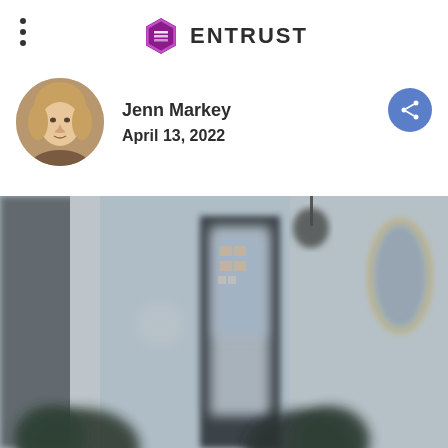[Figure (logo): Entrust logo — hexagon icon in purple/magenta with stylized book/layers, next to bold ENTRUST text]
Jenn Markey
April 13, 2022
[Figure (photo): Blurred interior hallway photo showing doorway, plants, mirror, and window with building exterior visible through glass]